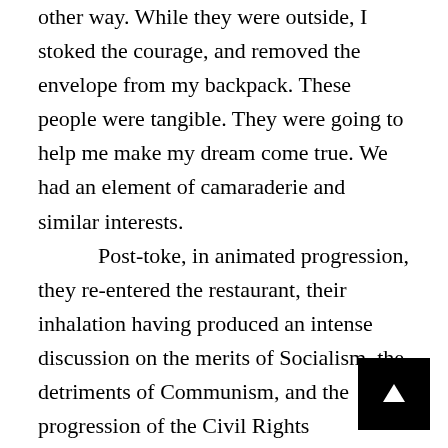other way. While they were outside, I stoked the courage, and removed the envelope from my backpack. These people were tangible. They were going to help me make my dream come true. We had an element of camaraderie and similar interests.
	Post-toke, in animated progression, they re-entered the restaurant, their inhalation having produced an intense discussion on the merits of Socialism, the detriments of Communism, and the progression of the Civil Rights Movement. They requested potato chips. Along with a bag of Ruffles, I placed the envelope in front of Mr. Cheever and Mr. Mailer, feeling names better situated to a business interaction. I gave them each a nineteen